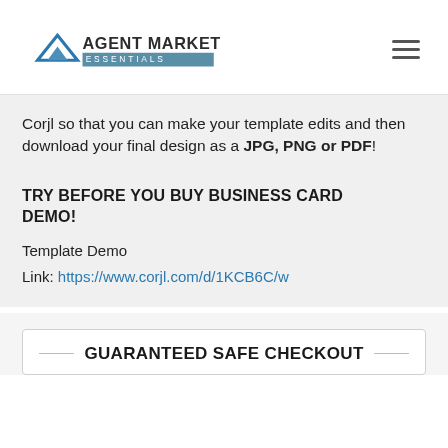Agent Marketing Essentials [logo] [hamburger menu]
Corjl so that you can make your template edits and then download your final design as a JPG, PNG or PDF!
TRY BEFORE YOU BUY BUSINESS CARD DEMO!
Template Demo
Link: https://www.corjl.com/d/1KCB6C/w
GUARANTEED SAFE CHECKOUT